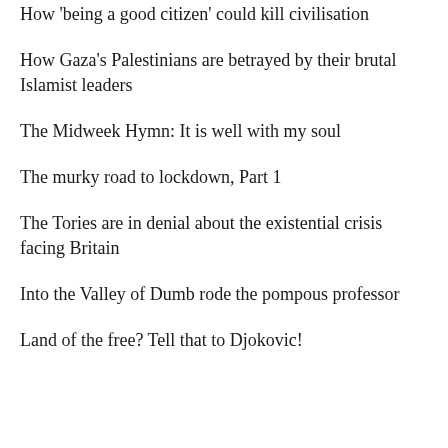How 'being a good citizen' could kill civilisation
How Gaza's Palestinians are betrayed by their brutal Islamist leaders
The Midweek Hymn: It is well with my soul
The murky road to lockdown, Part 1
The Tories are in denial about the existential crisis facing Britain
Into the Valley of Dumb rode the pompous professor
Land of the free? Tell that to Djokovic!